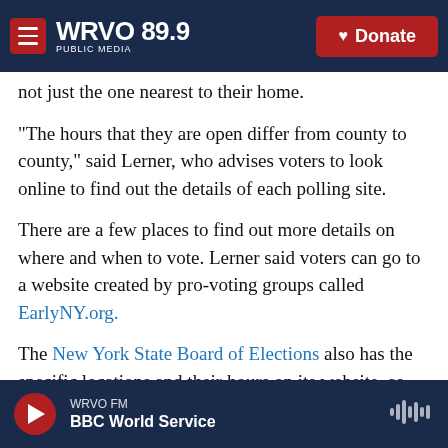WRVO 89.9 PUBLIC MEDIA | Donate
not just the one nearest to their home.
“The hours that they are open differ from county to county,” said Lerner, who advises voters to look online to find out the details of each polling site.
There are a few places to find out more details on where and when to vote. Lerner said voters can go to a website created by pro-voting groups called EarlyNY.org.
The New York State Board of Elections also has the specific locations and their hours on its website, as
WRVO FM | BBC World Service